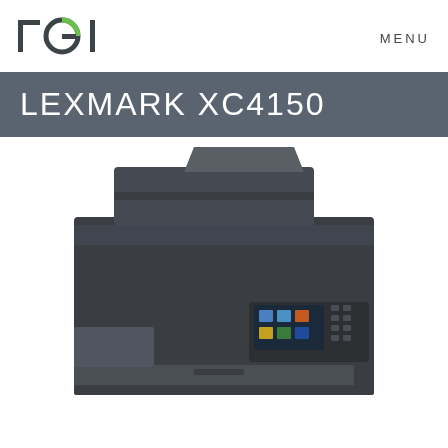[Figure (logo): TGI logo with stylized letters T, G (green circle detail), I in dark gray/charcoal color]
MENU
LEXMARK XC4150
[Figure (photo): Lexmark XC4150 multifunction printer shown from a front-top angle, displaying the automatic document feeder on top, touchscreen control panel, and paper tray at the bottom. The printer is dark gray/charcoal in color.]